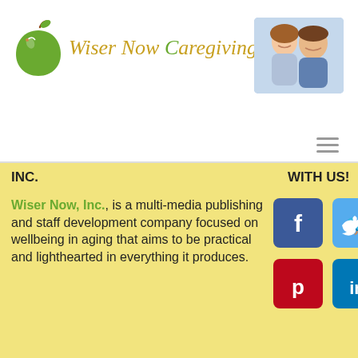Wiser Now Caregiving Focus
[Figure (logo): Green apple logo with leaf]
[Figure (photo): Elderly couple smiling together]
INC.
WITH US!
Wiser Now, Inc., is a multi-media publishing and staff development company focused on wellbeing in aging that aims to be practical and lighthearted in everything it produces.
[Figure (infographic): Social media buttons: Facebook, Twitter, Pinterest, LinkedIn]